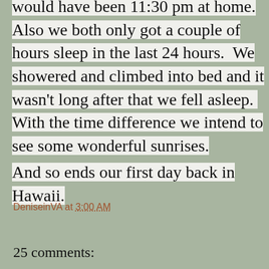would have been 11:30 pm at home. Also we both only got a couple of hours sleep in the last 24 hours.  We showered and climbed into bed and it wasn't long after that we fell asleep.  With the time difference we intend to see some wonderful sunrises.
And so ends our first day back in Hawaii.
DeniseinVA at 3:00 AM
Share
25 comments: